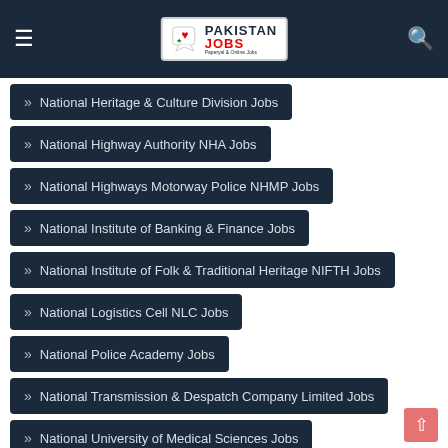Pakistan Jobs
National Heritage & Culture Division Jobs
National Highway Authority NHA Jobs
National Highways Motorway Police NHMP Jobs
National Institute of Banking & Finance Jobs
National Institute of Folk & Traditional Heritage NIFTH Jobs
National Logistics Cell NLC Jobs
National Police Academy Jobs
National Transmission & Despatch Company Limited Jobs
National University of Medical Sciences Jobs
Northern Power Generation Company Limited Jobs
Oil & Gas Development Company Limited OGDCL Jobs
Oil & Gas Regulatory Authority Jobs